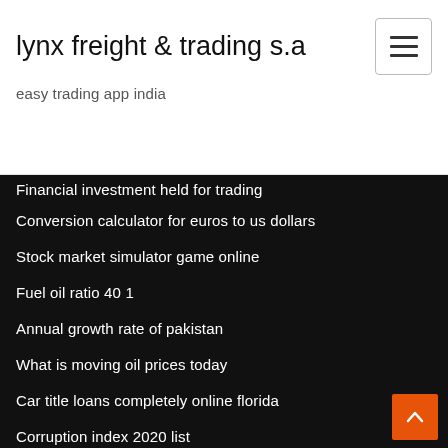lynx freight & trading s.a
easy trading app india
Financial investment held for trading
Conversion calculator for euros to us dollars
Stock market simulator game online
Fuel oil ratio 40 1
Annual growth rate of pakistan
What is moving oil prices today
Car title loans completely online florida
Corruption index 2020 list
Why did stock prices drop so quickly in 1929 brainly
2 troy ounces of silver value